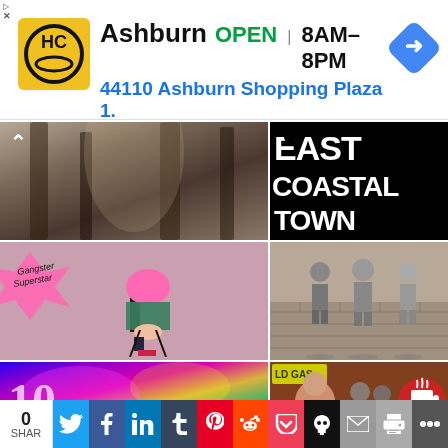[Figure (screenshot): Advertisement banner for Hardcore (HC) store in Ashburn showing logo, OPEN status, hours 8AM-8PM, address 44110 Ashburn Shopping Plaza 1., and navigation arrow icon. Small triangle ad badges at top left.]
[Figure (photo): Top-left grid image: misty forest scene with dark trees and light filtering through, with a chevron/caret up arrow icon at top left]
[Figure (photo): Top-right grid image: Black and white typographic image reading 'EAST COASTAL TOWN' in large bold letters]
[Figure (photo): Middle-left grid image: Fashion photo of a person sitting on a stool wearing a colorful fur jacket and pink shoes, with 'Gangster Superstar' text on a pink star shape at top left]
[Figure (photo): Middle-right grid image: Black and white photo of three people standing against a brick wall]
[Figure (photo): Bottom-left image: Colorful psychedelic/holographic abstract image with rainbow colors]
[Figure (photo): Bottom-right image: Collage with a woman, band members, 'LD GAS' sign, and a coffee cup icon with red circular background]
0 SHAR | Twitter | Facebook | LinkedIn | Tumblr | Pinterest | Reddit | Pocket | Skull | Email | Print | More